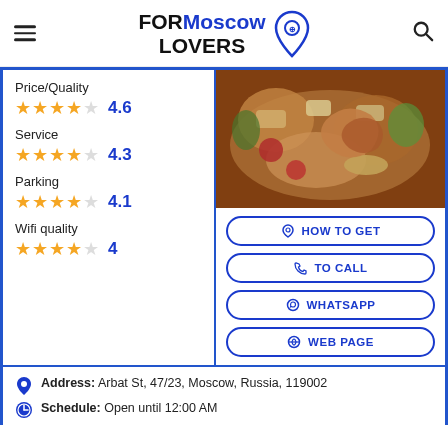FOR Moscow LOVERS
Price/Quality 4.6
Service 4.3
Parking 4.1
Wifi quality 4
[Figure (photo): Photo of a seafood/grilled food platter on a tray with shrimp, vegetables, sauces]
HOW TO GET
TO CALL
WHATSAPP
WEB PAGE
Address: Arbat St, 47/23, Moscow, Russia, 119002
Schedule: Open until 12:00 AM